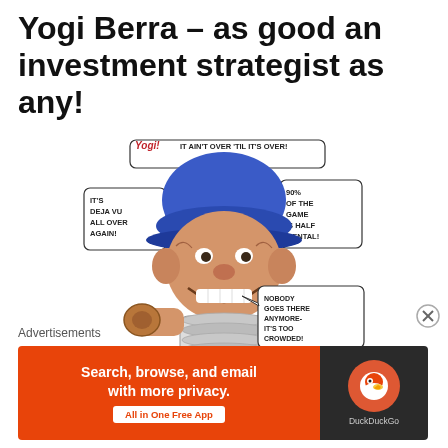Yogi Berra – as good an investment strategist as any!
[Figure (illustration): Caricature illustration of Yogi Berra in baseball catcher gear (blue cap with number 8, catcher's chest protector, mitt) with speech bubbles: 'Yogi! IT AIN'T OVER 'TIL IT'S OVER!', 'IT'S DEJA VU ALL OVER AGAIN!', '90% OF THE GAME IS HALF MENTAL!', 'NOBODY GOES THERE ANYMORE- IT'S TOO CROWDED!']
Advertisements
[Figure (other): DuckDuckGo advertisement banner: 'Search, browse, and email with more privacy. All in One Free App' with DuckDuckGo logo on dark background]